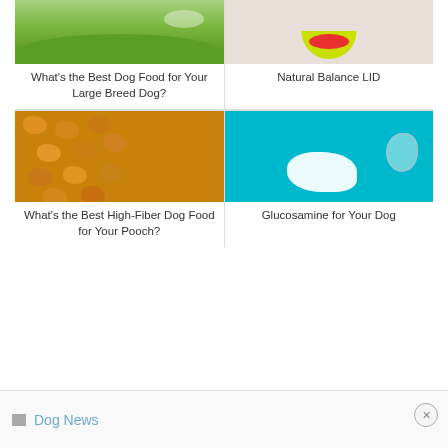[Figure (photo): Photo of a dog in green grass outdoors]
What's the Best Dog Food for Your Large Breed Dog?
[Figure (photo): Photo of a dog eating from a yellow bowl with berries]
Natural Balance LID
[Figure (photo): Close-up photo of golden dry dog kibble pieces]
What's the Best High-Fiber Dog Food for Your Pooch?
[Figure (photo): Photo of white powder spilling from a jar on teal background]
Glucosamine for Your Dog
Dog News ×